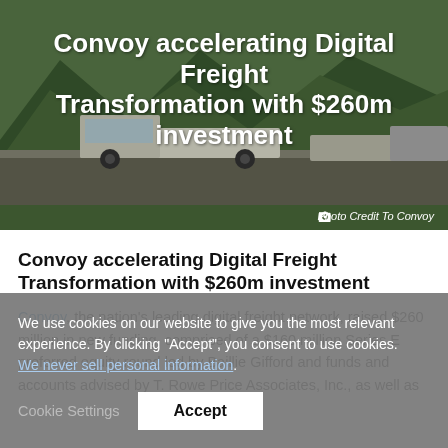[Figure (photo): Hero image of trucks on a highway surrounded by green mountains, with large white bold text overlay reading 'Convoy accelerating Digital Freight Transformation with $260m investment' and a photo credit to Convoy in the bottom right.]
Convoy accelerating Digital Freight Transformation with $260m investment
Convoy, the nation's leading digital freight network, raised $260 million in new funding, comprised of a $160 million Series E preferred equity round led by Baillie Gifford and funds and accounts advised by T. Rowe Price Associates, Inc., as well as
We use cookies on our website to give you the most relevant experience. By clicking "Accept", you consent to use cookies. We never sell personal information.